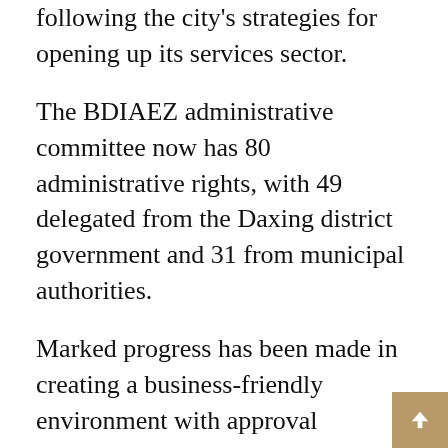following the city's strategies for opening up its services sector.
The BDIAEZ administrative committee now has 80 administrative rights, with 49 delegated from the Daxing district government and 31 from municipal authorities.
Marked progress has been made in creating a business-friendly environment with approval procedures streamlined and services optimized.
The BDIAEZ also provides one-on-one aid to enterprises with difficulties, while establish